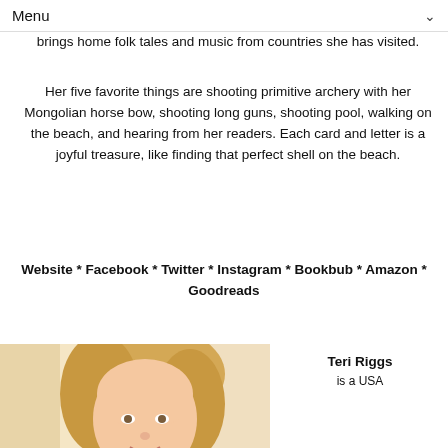Menu
brings home folk tales and music from countries she has visited.
Her five favorite things are shooting primitive archery with her Mongolian horse bow, shooting long guns, shooting pool, walking on the beach, and hearing from her readers. Each card and letter is a joyful treasure, like finding that perfect shell on the beach.
Website * Facebook * Twitter * Instagram * Bookbub * Amazon * Goodreads
[Figure (photo): Photograph of a blonde woman, Teri Riggs, partially visible]
Teri Riggs is a USA